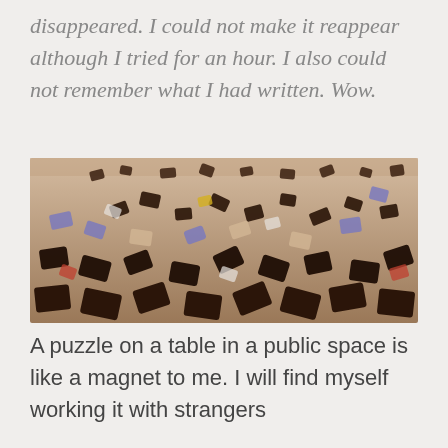disappeared. I could not make it reappear although I tried for an hour. I also could not remember what I had written. Wow.
[Figure (photo): Close-up photograph of many jigsaw puzzle pieces scattered on a table, unassembled, viewed from a low angle.]
A puzzle on a table in a public space is like a magnet to me. I will find myself working it with strangers